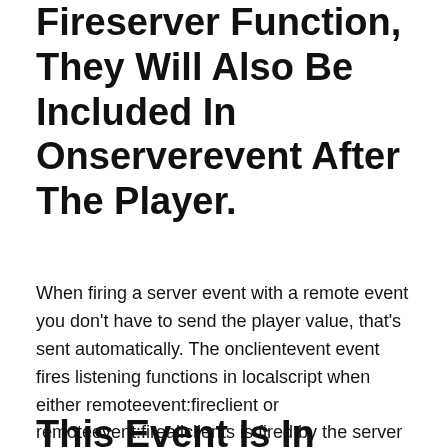Fireserver Function, They Will Also Be Included In Onserverevent After The Player.
When firing a server event with a remote event you don't have to send the player value, that's sent automatically. The onclientevent event fires listening functions in localscript when either remoteevent:fireclient or remoteevent:fireallclients is fired by the server from a script. This is what sends the signal to the remote event to call the function.
This Event Is In Place To